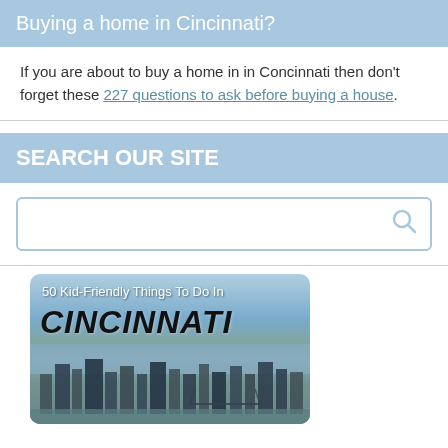Buying a home in Cincinnati?
If you are about to buy a home in in Concinnati then don't forget these 227 questions to ask before buying a house.
SEARCH OUR SITE
[Figure (screenshot): Search box with magnifying glass icon]
[Figure (photo): 50 Kid-Friendly Things To Do In CINCINNATI promotional image with city skyline]